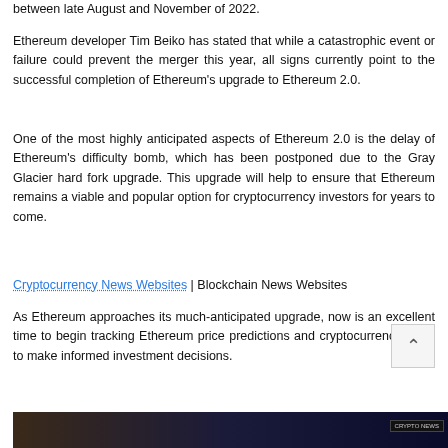between late August and November of 2022.
Ethereum developer Tim Beiko has stated that while a catastrophic event or failure could prevent the merger this year, all signs currently point to the successful completion of Ethereum’s upgrade to Ethereum 2.0.
One of the most highly anticipated aspects of Ethereum 2.0 is the delay of Ethereum’s difficulty bomb, which has been postponed due to the Gray Glacier hard fork upgrade. This upgrade will help to ensure that Ethereum remains a viable and popular option for cryptocurrency investors for years to come.
Cryptocurrency News Websites | Blockchain News Websites
As Ethereum approaches its much-anticipated upgrade, now is an excellent time to begin tracking Ethereum price predictions and cryptocurrency news to make informed investment decisions.
[Figure (photo): Dark image strip at bottom of page with a figure and crypto news badge overlay]